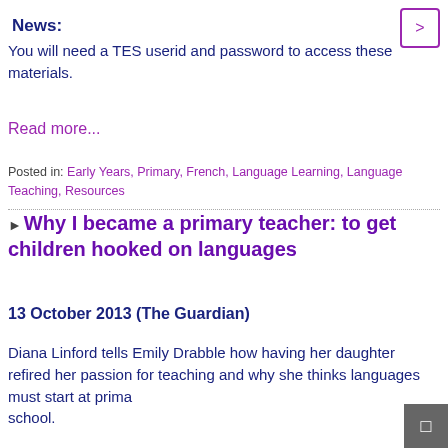News:
You will need a TES userid and password to access these materials.
Read more...
Posted in: Early Years, Primary, French, Language Learning, Language Teaching, Resources
Why I became a primary teacher: to get children hooked on languages
13 October 2013 (The Guardian)
Diana Linford tells Emily Drabble how having her daughter refired her passion for teaching and why she thinks languages must start at primary school.